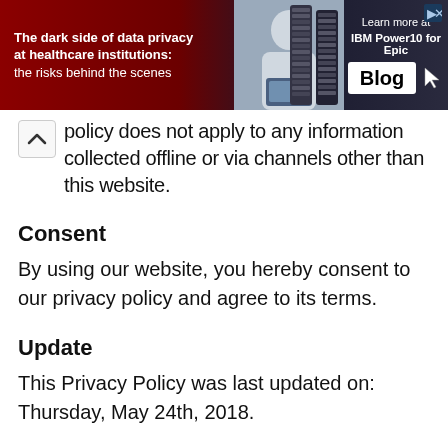[Figure (infographic): Advertisement banner: 'The dark side of data privacy at healthcare institutions: the risks behind the scenes' with IBM Power10 for Epic Blog promotion, showing a person with laptop and server racks.]
policy does not apply to any information collected offline or via channels other than this website.
Consent
By using our website, you hereby consent to our privacy policy and agree to its terms.
Update
This Privacy Policy was last updated on: Thursday, May 24th, 2018.